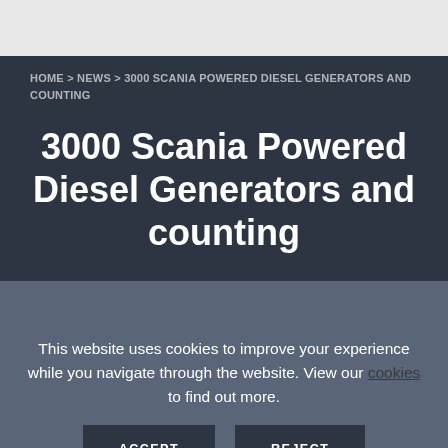HOME > NEWS > 3000 SCANIA POWERED DIESEL GENERATORS AND COUNTING
3000 Scania Powered Diesel Generators and counting
This website uses cookies to improve your experience while you navigate through the website. View our cookies to find out more.
ACCEPT   REJECT